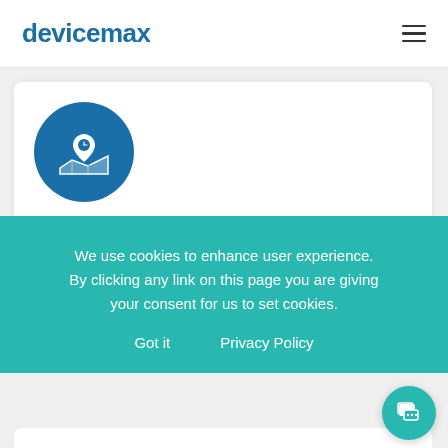devicemax
[Figure (logo): Circular teal/dark-blue icon with a map pin overlaid on a map graphic, used as a feature icon for Real-time Location Tracking]
Real-time Location Tracking
end users in graphical and methodical form.
We use cookies to enhance user experience. By clicking any link on this page you are giving your consent for us to set cookies.
Got it    Privacy Policy